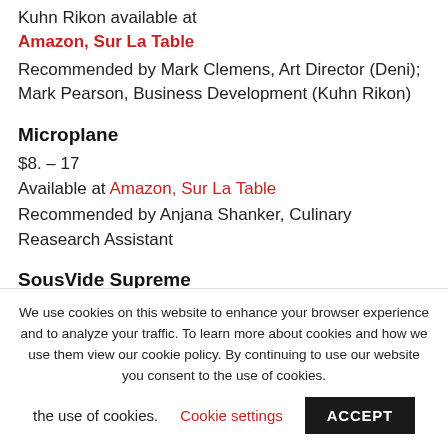Kuhn Rikon available at
Amazon, Sur La Table
Recommended by Mark Clemens, Art Director (Deni); Mark Pearson, Business Development (Kuhn Rikon)
Microplane
$8. – 17
Available at Amazon, Sur La Table
Recommended by Anjana Shanker, Culinary Reasearch Assistant
SousVide Supreme
We use cookies on this website to enhance your browser experience and to analyze your traffic. To learn more about cookies and how we use them view our cookie policy. By continuing to use our website you consent to the use of cookies.
Cookie settings
ACCEPT